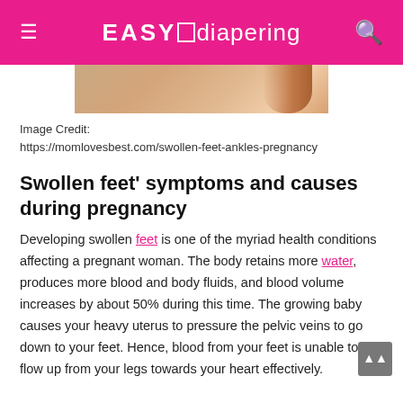EASY diapering
[Figure (photo): Partial view of a photo showing swollen feet/ankles during pregnancy, with beige/tan background]
Image Credit: https://momlovesbest.com/swollen-feet-ankles-pregnancy
Swollen feet' symptoms and causes during pregnancy
Developing swollen feet is one of the myriad health conditions affecting a pregnant woman. The body retains more water, produces more blood and body fluids, and blood volume increases by about 50% during this time. The growing baby causes your heavy uterus to pressure the pelvic veins to go down to your feet. Hence, blood from your feet is unable to flow up from your legs towards your heart effectively. ones make your veins relax, and they are unable to